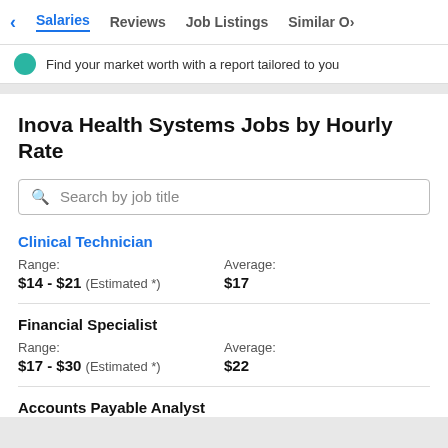< Salaries   Reviews   Job Listings   Similar O>
Find your market worth with a report tailored to you
Inova Health Systems Jobs by Hourly Rate
Search by job title
Clinical Technician
|  | Range: | Average: |
| --- | --- | --- |
|  | $14 - $21 (Estimated *) | $17 |
Financial Specialist
|  | Range: | Average: |
| --- | --- | --- |
|  | $17 - $30 (Estimated *) | $22 |
Accounts Payable Analyst